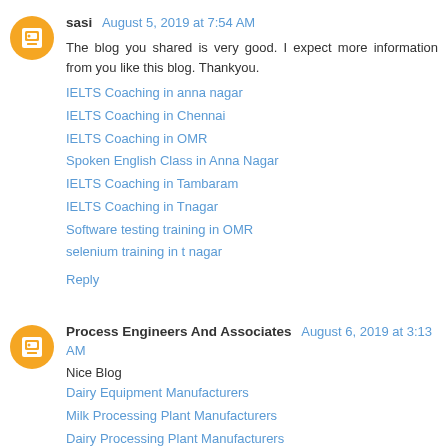sasi August 5, 2019 at 7:54 AM
The blog you shared is very good. I expect more information from you like this blog. Thankyou.
IELTS Coaching in anna nagar
IELTS Coaching in Chennai
IELTS Coaching in OMR
Spoken English Class in Anna Nagar
IELTS Coaching in Tambaram
IELTS Coaching in Tnagar
Software testing training in OMR
selenium training in t nagar
Reply
Process Engineers And Associates August 6, 2019 at 3:13 AM
Nice Blog
Dairy Equipment Manufacturers
Milk Processing Plant Manufacturers
Dairy Processing Plant Manufacturers
Milk Plant Manufacturers